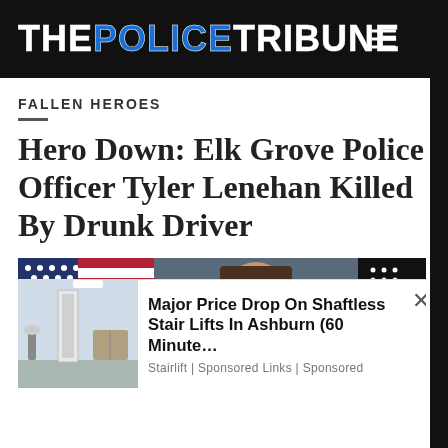THE POLICE TRIBUNE
FALLEN HEROES
Hero Down: Elk Grove Police Officer Tyler Lenehan Killed By Drunk Driver
[Figure (photo): Photo of a police officer in uniform in front of an American flag and thin blue line flag]
Major Price Drop On Shaftless Stair Lifts In Ashburn  (60 Minute…
Stairlift | Sponsored Links | Sponsored